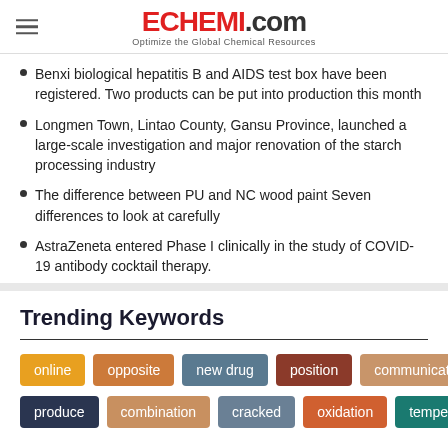ECHEMI.com — Optimize the Global Chemical Resources
Benxi biological hepatitis B and AIDS test box have been registered. Two products can be put into production this month
Longmen Town, Lintao County, Gansu Province, launched a large-scale investigation and major renovation of the starch processing industry
The difference between PU and NC wood paint Seven differences to look at carefully
AstraZeneta entered Phase I clinically in the study of COVID-19 antibody cocktail therapy.
Trending Keywords
online, opposite, new drug, position, communications, produce, combination, cracked, oxidation, temperature low